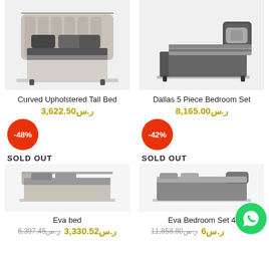[Figure (photo): Curved Upholstered Tall Bed product photo, beige/cream padded headboard with nailhead trim, dark bedding]
Curved Upholstered Tall Bed
ر.س3,622.50
[Figure (infographic): -48% red circular discount badge]
SOLD OUT
[Figure (photo): Dallas 5 Piece Bedroom Set product photo, dark grey upholstered bed]
Dallas 5 Piece Bedroom Set
ر.س8,165.00
[Figure (infographic): -42% red circular discount badge]
SOLD OUT
[Figure (photo): Eva bed product photo (partially visible)]
Eva bed
ر.س3,330.52
ر.س6,397.45
[Figure (photo): Eva Bedroom Set 4 product photo (partially visible)]
Eva Bedroom Set 4
ر.س11,858.80
[Figure (logo): WhatsApp green circular button with phone icon]